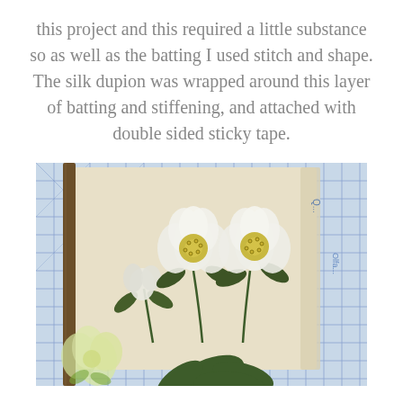this project and this required a little substance so as well as the batting I used stitch and shape. The silk dupion was wrapped around this layer of batting and stiffening, and attached with double sided sticky tape.
[Figure (photo): Photograph of embroidered white flowers (hellebores) with green leaves on a cream/tan silk fabric panel, placed on a blue grid cutting mat. Several embroidered flower motifs are visible, including two open white flowers with yellow centers and one bud. A loose felt or fabric flower cutout is visible in the lower left corner.]